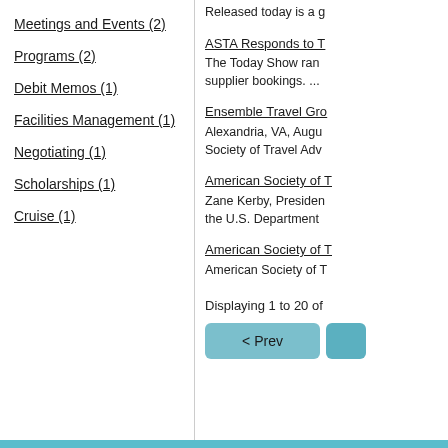Meetings and Events (2)
Programs (2)
Debit Memos (1)
Facilities Management (1)
Negotiating (1)
Scholarships (1)
Cruise (1)
Released today is a g
ASTA Responds to T
The Today Show ran supplier bookings. ...
Ensemble Travel Gro
Alexandria, VA, Augu Society of Travel Adv
American Society of T
Zane Kerby, Presiden the U.S. Department
American Society of T
American Society of T
Displaying 1 to 20 of